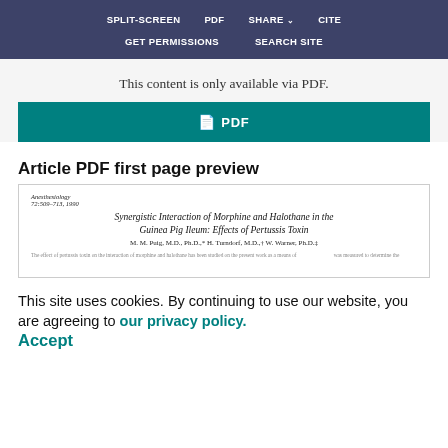SPLIT-SCREEN   PDF   SHARE   CITE   GET PERMISSIONS   SEARCH SITE
This content is only available via PDF.
[Figure (other): Teal PDF download button with document icon and PDF label]
Article PDF first page preview
[Figure (screenshot): Preview of article first page: Anesthesiology 72:509-713, 1990. Title: Synergistic Interaction of Morphine and Halothane in the Guinea Pig Ileum: Effects of Pertussis Toxin. Authors: M. M. Puig, M.D., Ph.D., H. Turndorf, M.D., W. Warner, Ph.D.]
This site uses cookies. By continuing to use our website, you are agreeing to our privacy policy. Accept